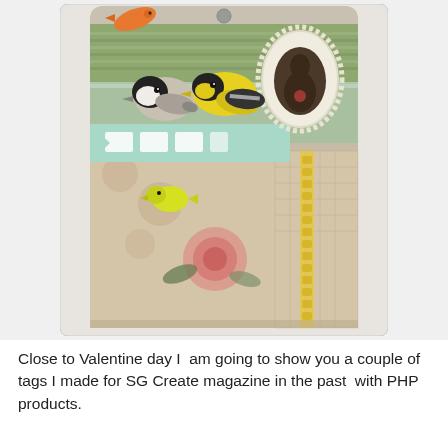[Figure (photo): A handmade decorative gift tag craft project featuring collage elements: two birds (a chickadee and a goldfinch) perched on top, a small orange bird, a Victorian silhouette cameo in a lace frame, a yellow canary bird in the middle, yellow crocheted lace ribbon on the right side, pink roses on floral patterned paper, mint green banner/bunting with white rectangles, and various patterned papers in green, beige, and brown tones. The tag has a rounded rectangular shape.]
Close to Valentine day I  am going to show you a couple of tags I made for SG Create magazine in the past  with PHP products.